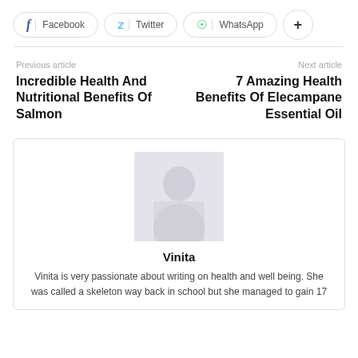[Figure (screenshot): Social share bar with Facebook, Twitter, WhatsApp, and plus buttons]
Previous article
Incredible Health And Nutritional Benefits Of Salmon
Next article
7 Amazing Health Benefits Of Elecampane Essential Oil
[Figure (photo): Author photo of Vinita — a grayscale/faded portrait photo]
Vinita
Vinita is very passionate about writing on health and well being. She was called a skeleton way back in school but she managed to gain 17